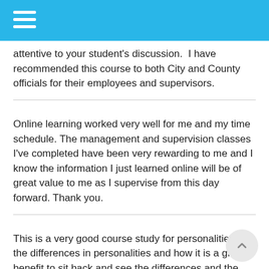attentive to your student's discussion.  I have recommended this course to both City and County officials for their employees and supervisors.
Online learning worked very well for me and my time schedule. The management and supervision classes I've completed have been very rewarding to me and I know the information I just learned online will be of great value to me as I supervise from this day forward. Thank you.
This is a very good course study for personalities and the differences in personalities and how it is a great benefit to sit back and see the differences and the benefit it is to managers to know the different types. Thanks for every thing.
While I am new to the management field, these courses (partially) have helped me tremendously.